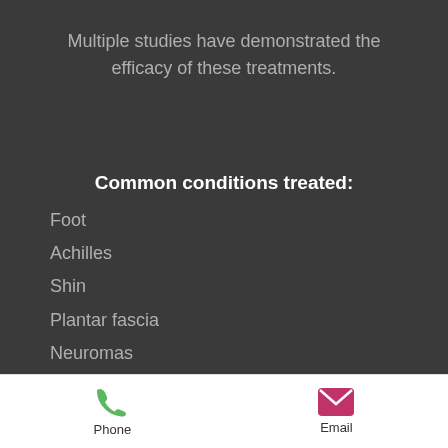Multiple studies have demonstrated the efficacy of these treatments.
Common conditions treated:
Foot
Achilles
Shin
Plantar fascia
Neuromas
Phone  Email